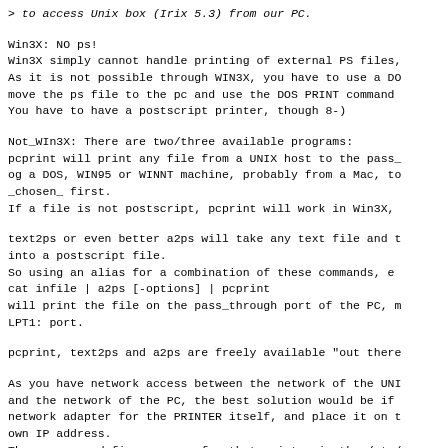> to access Unix box (Irix 5.3) from our PC.
Win3X: NO ps!
Win3X simply cannot handle printing of external PS files,
As it is not possible through WIN3X, you have to use a DO
move the ps file to the pc and use the DOS PRINT command
You have to have a postscript printer, though 8-)
Not_WIn3X: There are two/three available programs:
pcprint will print any file from a UNIX host to the pass_
og a DOS, WIN95 or WINNT machine, probably from a Mac, to
_chosen_ first.
If a file is not postscript, pcprint will work in Win3X,
text2ps or even better a2ps will take any text file and t
into a postscript file.
So using an alias for a combination of these commands, e
cat infile | a2ps [-options] | pcprint
will print the file on the pass_through port of the PC, m
LPT1: port.
pcprint, text2ps and a2ps are freely available "out there
As you have network access between the network of the UNI
and the network of the PC, the best solution would be if
network adapter for the PRINTER itself, and place it on t
own IP address.
Then you can define a queue for that printer in the /etc/
the UNIX machine and print directly to the printer from t